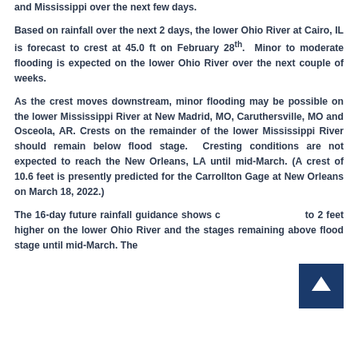and Mississippi over the next few days.
Based on rainfall over the next 2 days, the lower Ohio River at Cairo, IL is forecast to crest at 45.0 ft on February 28th. Minor to moderate flooding is expected on the lower Ohio River over the next couple of weeks.
As the crest moves downstream, minor flooding may be possible on the lower Mississippi River at New Madrid, MO, Caruthersville, MO and Osceola, AR. Crests on the remainder of the lower Mississippi River should remain below flood stage. Cresting conditions are not expected to reach the New Orleans, LA until mid-March. (A crest of 10.6 feet is presently predicted for the Carrollton Gage at New Orleans on March 18, 2022.)
The 16-day future rainfall guidance shows close to 2 feet higher on the lower Ohio River and the stages remaining above flood stage until mid-March. The